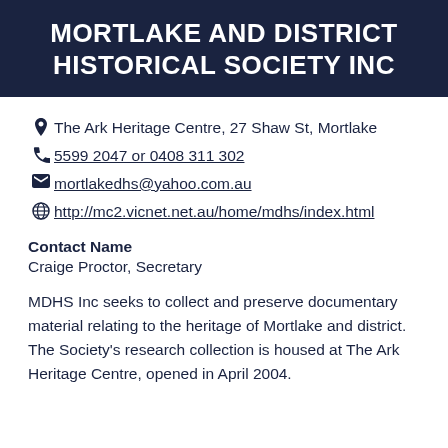MORTLAKE AND DISTRICT HISTORICAL SOCIETY INC
The Ark Heritage Centre, 27 Shaw St, Mortlake
5599 2047 or 0408 311 302
mortlakedhs@yahoo.com.au
http://mc2.vicnet.net.au/home/mdhs/index.html
Contact Name
Craige Proctor, Secretary
MDHS Inc seeks to collect and preserve documentary material relating to the heritage of Mortlake and district. The Society's research collection is housed at The Ark Heritage Centre, opened in April 2004.